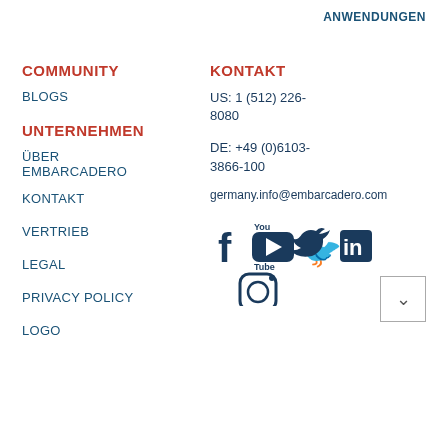ANWENDUNGEN
COMMUNITY
BLOGS
UNTERNEHMEN
ÜBER EMBARCADERO
KONTAKT
VERTRIEB
LEGAL
PRIVACY POLICY
LOGO
KONTAKT
US: 1 (512) 226-8080
DE: +49 (0)6103-3866-100
germany.info@embarcadero.com
[Figure (illustration): Social media icons: Facebook, YouTube, Twitter, LinkedIn, Instagram]